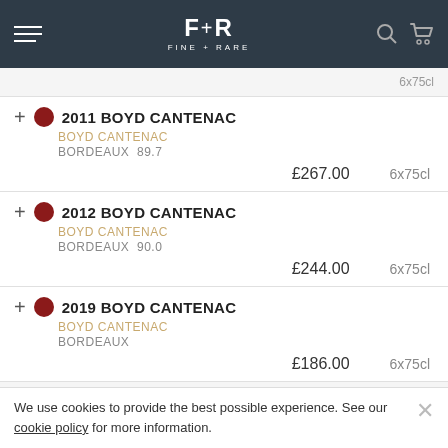FINE+RARE
2011 BOYD CANTENAC | BOYD CANTENAC | BORDEAUX 89.7 | £267.00 | 6x75cl
2012 BOYD CANTENAC | BOYD CANTENAC | BORDEAUX 90.0 | £244.00 | 6x75cl
2019 BOYD CANTENAC | BOYD CANTENAC | BORDEAUX | £186.00 | 6x75cl
We use cookies to provide the best possible experience. See our cookie policy for more information.